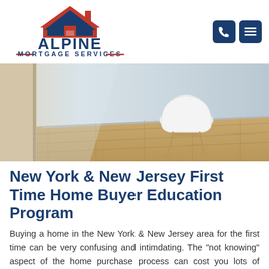[Figure (logo): Alpine Mortgage Services logo with red house rooftop icon above bold dark blue text reading ALPINE, and below MORTGAGE SERVICES with red decorative lines on either side]
[Figure (photo): Interior room photo with light blue/grey walls, a white modern chair with wooden legs on hardwood parquet flooring, and a white door on the left side]
New York & New Jersey First Time Home Buyer Education Program
Buying a home in the New York & New Jersey area for the first time can be very confusing and intimdating. The "not knowing" aspect of the home purchase process can cost you lots of money and leave you with lasting problems. At